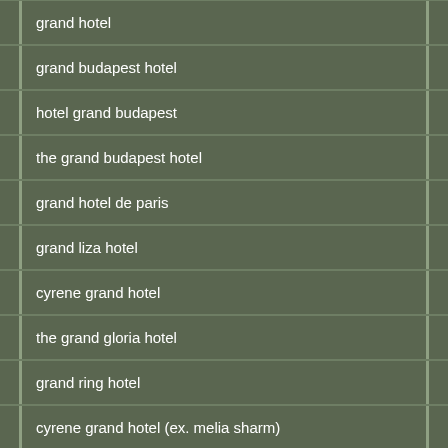grand hotel
grand budapest hotel
hotel grand budapest
the grand budapest hotel
grand hotel de paris
grand liza hotel
cyrene grand hotel
the grand gloria hotel
grand ring hotel
cyrene grand hotel (ex. melia sharm)